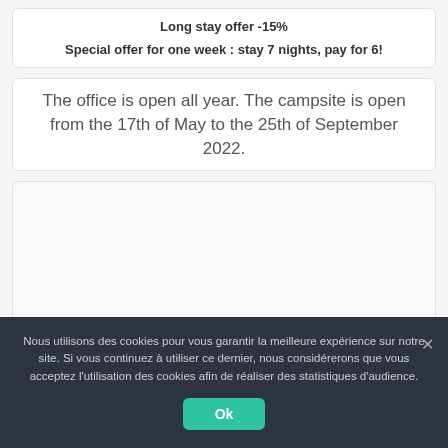Long stay offer -15%
Special offer for one week : stay 7 nights, pay for 6!
The office is open all year. The campsite is open from the 17th of May to the 25th of September 2022.
Nous utilisons des cookies pour vous garantir la meilleure expérience sur notre site. Si vous continuez à utiliser ce dernier, nous considérerons que vous acceptez l'utilisation des cookies afin de réaliser des statistiques d'audience.